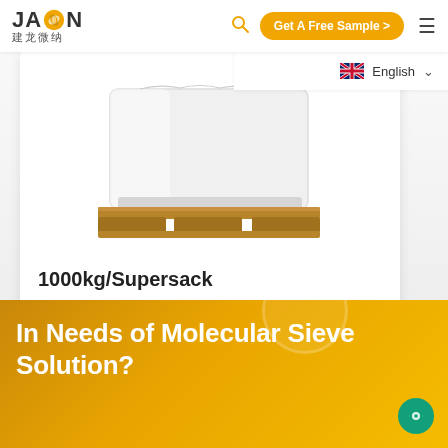[Figure (logo): JALON (建龙微纳) company logo with orange leaf/sun icon between J and LON letters, bold dark text]
Get A Free Sample >
English
[Figure (photo): Product shot of a large white supersack/bulk bag on a wooden pallet, wrapped in plastic, against white background]
1000kg/Supersack
In Needs of Molecular Sieve Solution?